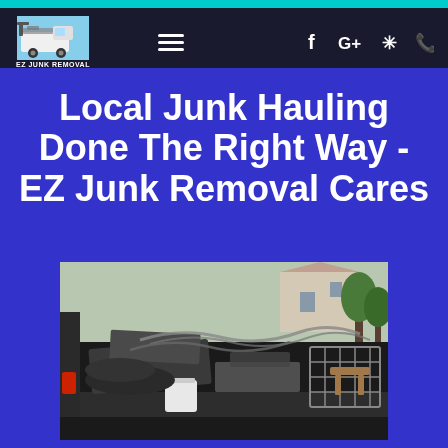EZ JUNK REMOVAL — navigation bar with logo, hamburger menu, Facebook, Google+, Yelp, phone icons
Local Junk Hauling Done The Right Way - EZ Junk Removal Cares
[Figure (photo): Pickup truck bed loaded with junk including metal scraps, wiring, cables, fencing, buckets, and miscellaneous debris. Truck is parked outdoors with houses visible in the background.]